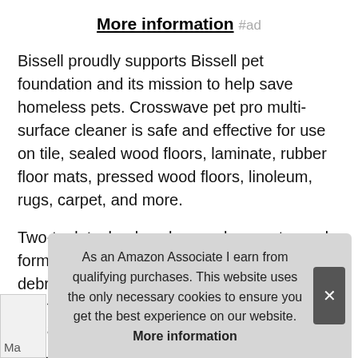More information #ad
Bissell proudly supports Bissell pet foundation and its mission to help save homeless pets. Crosswave pet pro multi-surface cleaner is safe and effective for use on tile, sealed wood floors, laminate, rubber floor mats, pressed wood floors, linoleum, rugs, carpet, and more.
Two-tank technology keeps clean water and formula separate from dirty water and dry debris. Forever clean pet messes with a fresh solution! Includes two tangle-free brush rolls, two 8 oz. Take care of pet messes the bissell way. Certain trademarks used under license from The Procter & Gamble Company or its affiliates.
As an Amazon Associate I earn from qualifying purchases. This website uses the only necessary cookies to ensure you get the best experience on our website. More information